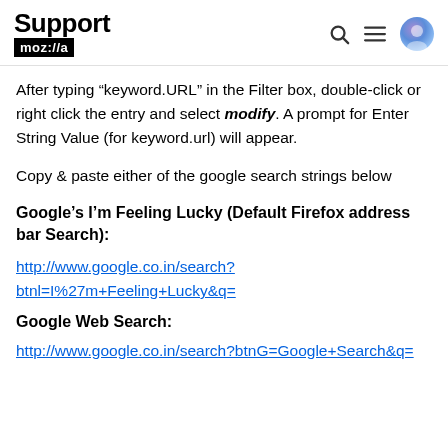Support moz://a
After typing “keyword.URL” in the Filter box, double-click or right click the entry and select modify. A prompt for Enter String Value (for keyword.url) will appear.
Copy & paste either of the google search strings below
Google’s I’m Feeling Lucky (Default Firefox address bar Search):
http://www.google.co.in/search?btnl=I%27m+Feeling+Lucky&q=
Google Web Search:
http://www.google.co.in/search?btnG=Google+Search&q=